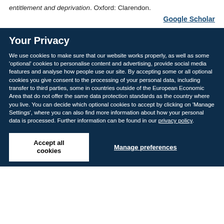entitlement and deprivation. Oxford: Clarendon.
Google Scholar
Your Privacy
We use cookies to make sure that our website works properly, as well as some 'optional' cookies to personalise content and advertising, provide social media features and analyse how people use our site. By accepting some or all optional cookies you give consent to the processing of your personal data, including transfer to third parties, some in countries outside of the European Economic Area that do not offer the same data protection standards as the country where you live. You can decide which optional cookies to accept by clicking on 'Manage Settings', where you can also find more information about how your personal data is processed. Further information can be found in our privacy policy.
Accept all cookies
Manage preferences